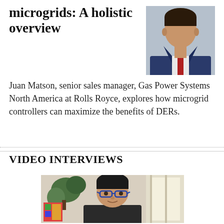microgrids: A holistic overview
[Figure (photo): Headshot of Juan Matson, a man in a suit with a red tie, against a blue background]
Juan Matson, senior sales manager, Gas Power Systems North America at Rolls Royce, explores how microgrid controllers can maximize the benefits of DERs.
VIDEO INTERVIEWS
[Figure (photo): Video interview thumbnail showing a man with glasses and dark hair sitting indoors with plants visible in the background and a bright window to the right]